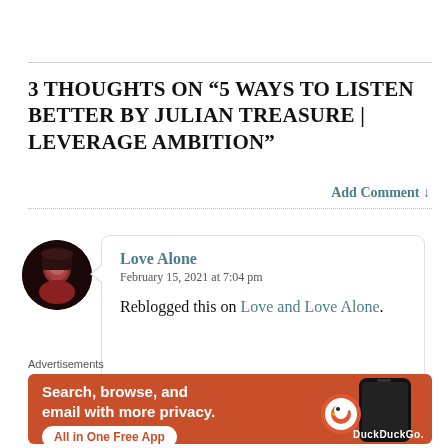3 THOUGHTS ON “5 WAYS TO LISTEN BETTER BY JULIAN TREASURE | LEVERAGE AMBITION”
Add Comment ↓
Love Alone
February 15, 2021 at 7:04 pm
Reblogged this on Love and Love Alone.
[Figure (illustration): Advertisement banner for DuckDuckGo: orange background, text 'Search, browse, and email with more privacy. All in One Free App', with a phone image and DuckDuckGo logo]
Advertisements